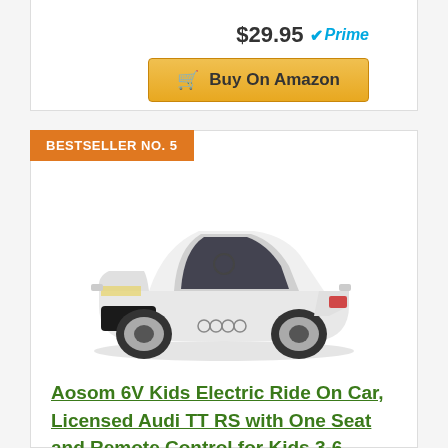$29.95 Prime
Buy On Amazon
BESTSELLER NO. 5
[Figure (photo): White Aosom 6V Kids Electric Ride On Car, Licensed Audi TT RS toy car with black interior, steering wheel, and gray rims, viewed from front-left angle.]
Aosom 6V Kids Electric Ride On Car, Licensed Audi TT RS with One Seat and Remote Control for Kids 3-6 Years Old - White